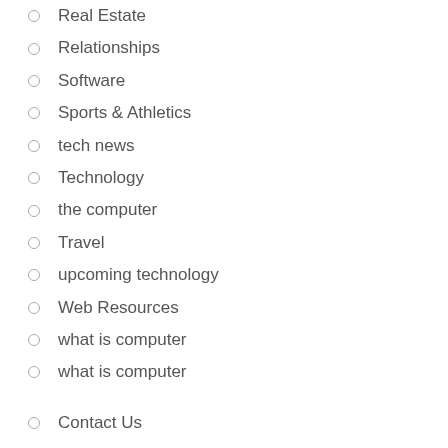Real Estate
Relationships
Software
Sports & Athletics
tech news
Technology
the computer
Travel
upcoming technology
Web Resources
what is computer
what is computer
Contact Us
Advertise Here